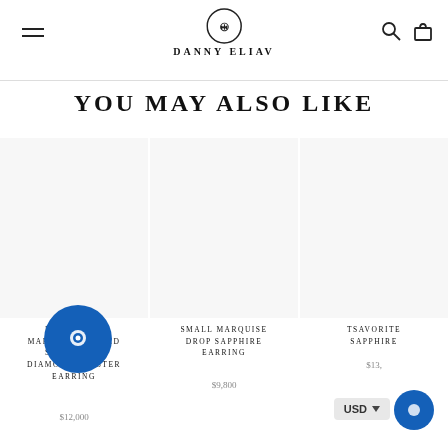[Figure (logo): Danny Eliav jewelry brand logo with circular emblem icon and brand name text]
YOU MAY ALSO LIKE
ELONGATED MARQUISE SHAPED SAPPHIRE & DIAMOND CLUSTER EARRING
$12,000
SMALL MARQUISE DROP SAPPHIRE EARRING
$9,800
TSAVORITE SAPPHIRE
$13,...